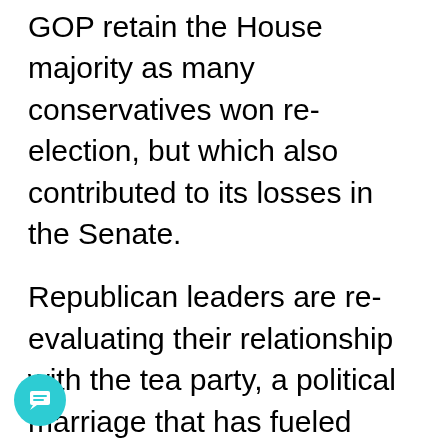GOP retain the House majority as many conservatives won re-election, but which also contributed to its losses in the Senate.
Republican leaders are re-evaluating their relationship with the tea party, a political marriage that has fueled gridlock and, some believe, played a role in the GOP's dismal outcome at the polls. The intense conservative